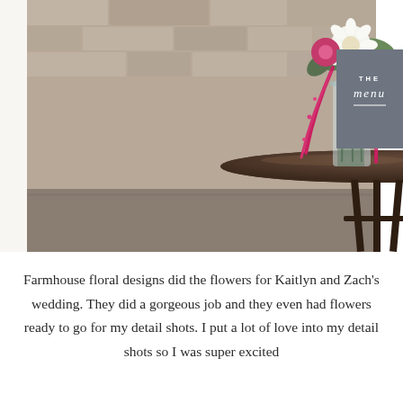[Figure (photo): A floral arrangement in a glass vase sitting on a round bronze/dark metal pedestal table against a stone brick wall background. The bouquet includes white dahlias, pink/magenta flowers, and trailing amaranthus. A gray box overlay in the upper right corner displays 'THE menu' text. A watermark reads 'Jen Bride Photography'.]
Farmhouse floral designs did the flowers for Kaitlyn and Zach's wedding. They did a gorgeous job and they even had flowers ready to go for my detail shots. I put a lot of love into my detail shots so I was super excited